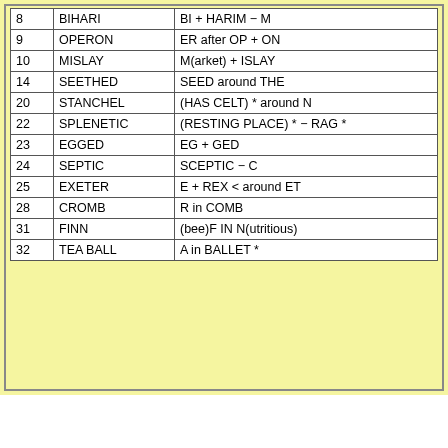| # | Word | Explanation |
| --- | --- | --- |
| 8 | BIHARI | BI + HARIM − M |
| 9 | OPERON | ER after OP + ON |
| 10 | MISLAY | M(arket) + ISLAY |
| 14 | SEETHED | SEED around THE |
| 20 | STANCHEL | (HAS CELT) * around N |
| 22 | SPLENETIC | (RESTING PLACE) * − RAG * |
| 23 | EGGED | EG + GED |
| 24 | SEPTIC | SCEPTIC − C |
| 25 | EXETER | E + REX < around ET |
| 28 | CROMB | R in COMB |
| 31 | FINN | (bee)F IN N(utritious) |
| 32 | TEA BALL | A in BALLET * |
Back to 2015 menu
See the terms and conditions for using this web site.